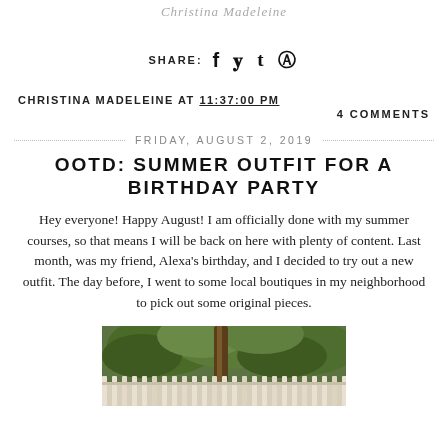Christina Madeleine
SHARE:  f  y  t  ®
CHRISTINA MADELEINE AT 11:37:00 PM
4 COMMENTS
FRIDAY, AUGUST 2, 2019
OOTD: SUMMER OUTFIT FOR A BIRTHDAY PARTY
Hey everyone! Happy August! I am officially done with my summer courses, so that means I will be back on here with plenty of content. Last month, was my friend, Alexa's birthday, and I decided to try out a new outfit. The day before, I went to some local boutiques in my neighborhood to pick out some original pieces.
[Figure (photo): Outdoor photo showing a white picket fence with green trees and foliage in the background, and a tree trunk visible in the center.]